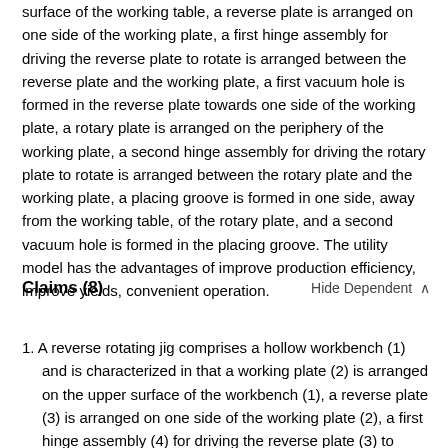surface of the working table, a reverse plate is arranged on one side of the working plate, a first hinge assembly for driving the reverse plate to rotate is arranged between the reverse plate and the working plate, a first vacuum hole is formed in the reverse plate towards one side of the working plate, a rotary plate is arranged on the periphery of the working plate, a second hinge assembly for driving the rotary plate to rotate is arranged between the rotary plate and the working plate, a placing groove is formed in one side, away from the working table, of the rotary plate, and a second vacuum hole is formed in the placing groove. The utility model has the advantages of improve production efficiency, improve yields, convenient operation.
Claims (8)
Hide Dependent ^
1. A reverse rotating jig comprises a hollow workbench (1) and is characterized in that a working plate (2) is arranged on the upper surface of the workbench (1), a reverse plate (3) is arranged on one side of the working plate (2), a first hinge assembly (4) for driving the reverse plate (3) to rotate is arranged between the